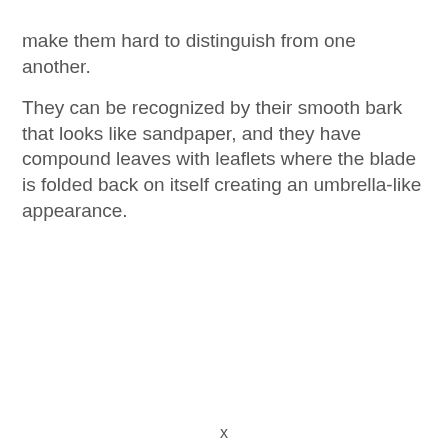make them hard to distinguish from one another.
They can be recognized by their smooth bark that looks like sandpaper, and they have compound leaves with leaflets where the blade is folded back on itself creating an umbrella-like appearance.
x